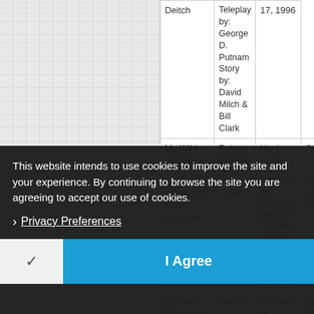| Title | Director | Writer | Air Date |
| --- | --- | --- | --- |
|  | Deitch | Teleplay by: George D. Putnam
Story by: David Milch & Bill Clark | 17, 1996 |
| My Wild Irish Nose | Robert Doherty | Hugh Levick | January 7, 1997 |
| Alice Doesn't Fit Here Anymore | Mark Tinker | Teleplay by: Leonard Bercovici;
Nicholas Wootton
Story by: David Milch & Bill Clark | January 14, 1997 |
| Upstairs Downstairs | Barclay | Teleplay by: | January 21, 1997 |
This website intends to use cookies to improve the site and your experience. By continuing to browse the site you are agreeing to accept our use of cookies.
Privacy Preferences
I Agree